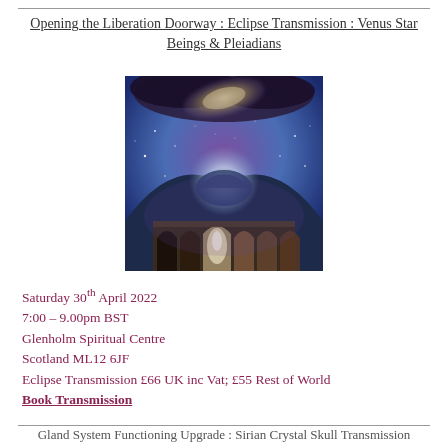Opening the Liberation Doorway : Eclipse Transmission : Venus Star Beings & Pleiadians
[Figure (illustration): Mystical composite image showing a domed temple or palace with arched colonnades below, glowing light emanating from the dome, set against a purple/blue cosmic sky with a galaxy visible above and stars scattered throughout]
Saturday 30th April 2022
7:00 – 9.00pm BST
Glenholm Spiritual Centre
Scotland ML12 6JF
Eclipse Transmission £66 UK inc Vat; £55 Rest of World
Book Transmission
Gland System Functioning Upgrade : Sirian Crystal Skull Transmission